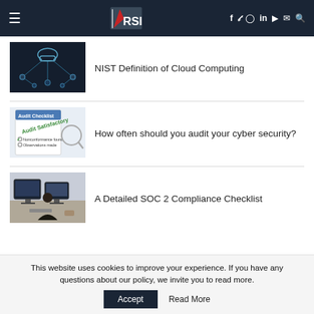RSI — navigation header with hamburger menu, logo, and social icons
[Figure (screenshot): Thumbnail image of cloud computing network diagram (dark background with cloud icon and network nodes)]
NIST Definition of Cloud Computing
[Figure (photo): Thumbnail image of Audit Checklist document with text: Audit Satisfactory, Nonconformance found, Observations made]
How often should you audit your cyber security?
[Figure (photo): Thumbnail image of person working at computer screens]
A Detailed SOC 2 Compliance Checklist
This website uses cookies to improve your experience. If you have any questions about our policy, we invite you to read more.
Accept   Read More